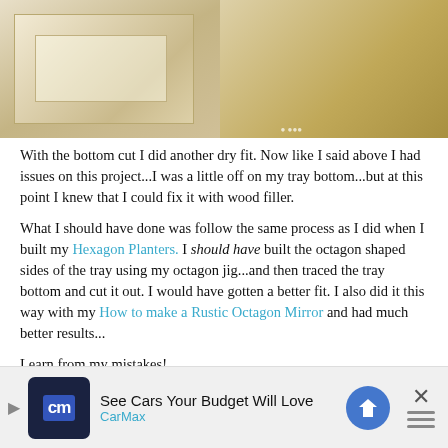[Figure (photo): Two photos side by side showing octagon wooden tray with bottom dry-fit — left shows interior view of tray from above, right shows close-up of corner joint in natural wood]
With the bottom cut I did another dry fit.  Now like I said above I had issues on this project...I was a little off on my tray bottom...but at this point I knew that I could fix it with wood filler.
What I should have done was follow the same process as I did when I built my Hexagon Planters.  I should have built the octagon shaped sides of the tray using my octagon jig...and then traced the tray bottom and cut it out.  I would have gotten a better fit.  I also did it this way with my How to make a Rustic Octagon Mirror and had much better results...
Learn from my mistakes!
Step 3:  Build your Octagon shape with your Octagon Jig
[Figure (screenshot): CarMax advertisement banner: See Cars Your Budget Will Love — CarMax]